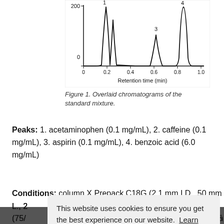[Figure (continuous-plot): Chromatogram showing 4 peaks labeled 1, 2, 3, 4 at retention times approximately 0.2, 0.25, 0.65, 0.87 min. Y-axis shows values from 0 to 200. X-axis is Retention time (min) from 0 to 1.0.]
Figure 1. Overlaid chromatograms of the standard mixture.
Peaks: 1. acetaminophen (0.1 mg/mL), 2. caffeine (0.1 mg/mL), 3. aspirin (0.1 mg/mL), 4. benzoic acid (6.0 mg/mL)
Conditions: column X Prepack C18G (2.1 mm I.D., 50 mm L., 2 μm); mobile phase: methanol/water (75/25); flow rate: 0.8 mL/min; detection wavelength: 215 nm; injection volume: 2 μL
Reproducibility   Reproducibility